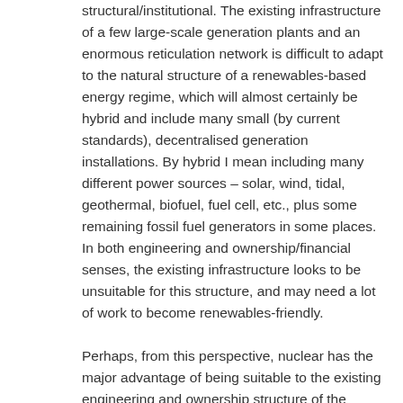structural/institutional. The existing infrastructure of a few large-scale generation plants and an enormous reticulation network is difficult to adapt to the natural structure of a renewables-based energy regime, which will almost certainly be hybrid and include many small (by current standards), decentralised generation installations. By hybrid I mean including many different power sources – solar, wind, tidal, geothermal, biofuel, fuel cell, etc., plus some remaining fossil fuel generators in some places. In both engineering and ownership/financial senses, the existing infrastructure looks to be unsuitable for this structure, and may need a lot of work to become renewables-friendly.

Perhaps, from this perspective, nuclear has the major advantage of being suitable to the existing engineering and ownership structure of the network